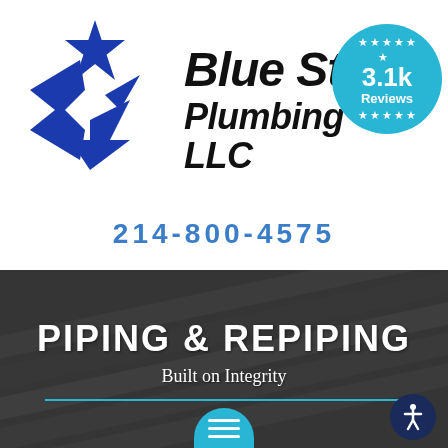[Figure (logo): Blue Star Plumbing LLC logo with blue star graphic and company name in bold italic black text]
[Figure (infographic): Cyan circular reviews badge showing 3.1k Reviews with white stars arranged in circular pattern]
214-800-4575
[Figure (photo): Background photo of pipes/piping with dark overlay]
PIPING & REPIPING
Built on Integrity
[Figure (infographic): Hamburger menu button (cyan, rounded top) and accessibility icon button (dark blue circle with person icon)]